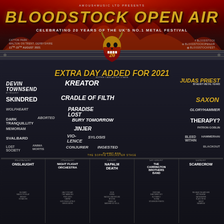AMOUS4MUSIC LTD PRESENTS
BLOODSTOCK OPEN AIR
CELEBRATING 20 YEARS OF THE UK'S NO.1 METAL FESTIVAL
CATTON PARK
WALTON ON TRENT, DERBYSHIRE
11TH-15TH AUGUST 2021
BLOODSTOCK
BLOODSTOCKOPENAIR
BLOODSTOCKFEST
[Figure (illustration): Bloodstock 20th anniversary skull/demon mascot logo with horns and shield]
EXTRA DAY ADDED FOR 2021
SOPHIE LANCASTER STAGE
DEVIN TOWNSEND
KREATOR
Judas Priest 50 HEAVY METAL YEARS
SKINDRED
CRADLE OF FILTH
SAXON
WOLFHEART
PARADISE LOST
GLORYHAMMER
DARK TRANQUILLITY
ABORTED
BURY TOMORROW
THERAPY?
MEMORIAM
JINJER
PATRON GOBLIN
SVALBARD
VIO-LENCE
SYLOSIS
BLEED WITHIN
HAMMERHAI
LOST SOCIETY
CONJURER
INGESTED
BLACKOUT
PLANET BOG
THE SOPHIE LANCASTER STAGE
| WEDNESDAY | THURSDAY | FRIDAY | SATURDAY | SUNDAY |
| --- | --- | --- | --- | --- |
| ONSLAUGHT | NIGHT FLIGHT ORCHESTRA | NAPALM DEATH | THE CARRINGTON BROTHERS BAND | SCARECROW |
| BLIZZARD
FANGS OF DELAY
BRISKEY
SIGNATURE | HALCYON WAY
THE GAMBLING
PORT WITH
CAMINE
EXPLORING WORLD
SEEING MORE | SICLE
EVENS
RACING GREYHOUND
MOLTEN
FRANK LAI
BANSHEE NO SKULL | FEROZAN
SHATTERED SKY
BUTTERFLY
VILENA
GOVERNOR PIGEON | RELEASE THE ARCHER
MOONSHINE
GATEKEEPER
BLACK ROSE
TANGO
SAGARIUM |